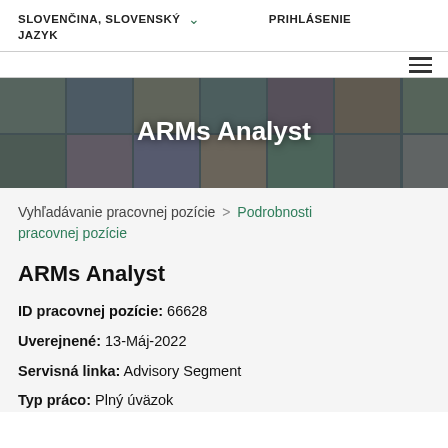SLOVENČINA, SLOVENSKÝ JAZYK ∨  PRIHLÁSENIE
[Figure (photo): Hero banner with collage of diverse professionals in various work settings with white bold text 'ARMs Analyst' overlaid]
Vyhľadávanie pracovnej pozície > Podrobnosti pracovnej pozície
ARMs Analyst
ID pracovnej pozície: 66628
Uverejnené: 13-Máj-2022
Servisná linka: Advisory Segment
Typ práco: Plný úväzok